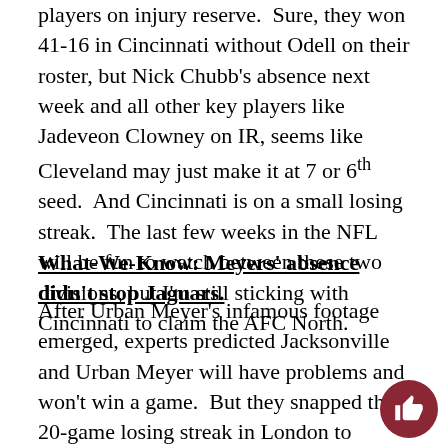players on injury reserve.  Sure, they won 41-16 in Cincinnati without Odell on their roster, but Nick Chubb's absence next week and all other key players like Jadeveon Clowney on IR, seems like Cleveland may just make it at 7 or 6th seed.  And Cincinnati is on a small losing streak.  The last few weeks in the NFL will be fun to watch between these two divisions, but I'm still sticking with Cincinnati to claim the AFC North.
What-We-Know: Meyers' absence didn't stop Jaguars.
After Urban Meyer's infamous footage emerged, experts predicted Jacksonville and Urban Meyer will have problems and won't win a game.  But they snapped their 20-game losing streak in London to Miami and won in a 9-6 victory against powerhouse Buffalo.  With two victories and our knowledge to expect anything can happen on a Sunday,